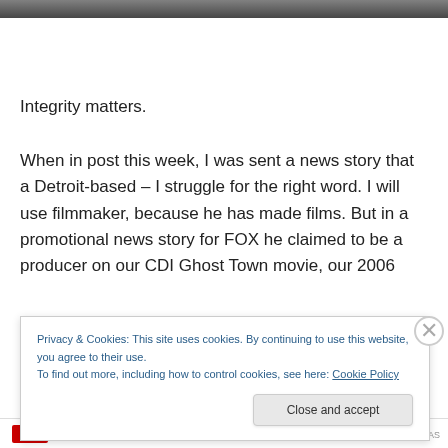[Figure (photo): Partial photo strip at the top of the page showing people outdoors]
Integrity matters.
When in post this week, I was sent a news story that a Detroit-based – I struggle for the right word. I will use filmmaker, because he has made films. But in a promotional news story for FOX he claimed to be a producer on our CDI Ghost Town movie, our 2006
Privacy & Cookies: This site uses cookies. By continuing to use this website, you agree to their use.
To find out more, including how to control cookies, see here: Cookie Policy
Close and accept